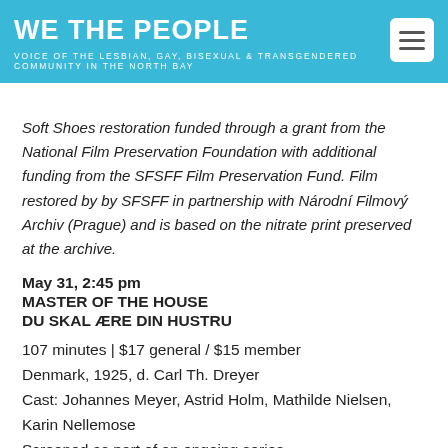WE THE PEOPLE
VOICE OF THE LESBIAN, GAY, BISEXUAL & TRANSGENDERED COMMUNITY IN THE NORTH BAY
Soft Shoes restoration funded through a grant from the National Film Preservation Foundation with additional funding from the SFSFF Film Preservation Fund. Film restored by by SFSFF in partnership with Národní Filmový Archiv (Prague) and is based on the nitrate print preserved at the archive.
May 31, 2:45 pm
MASTER OF THE HOUSE
DU SKAL ÆRE DIN HUSTRU
107 minutes | $17 general / $15 member
Denmark, 1925, d. Carl Th. Dreyer
Cast: Johannes Meyer, Astrid Holm, Mathilde Nielsen, Karin Nellemose
Screened as part of an ongoing series... The Passion of...